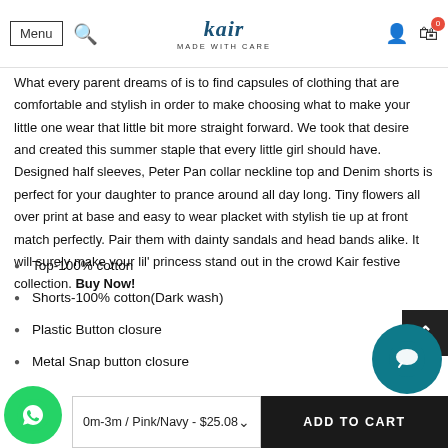Menu | Search | kair MADE WITH CARE | Account | Cart 0
What every parent dreams of is to find capsules of clothing that are comfortable and stylish in order to make choosing what to make your little one wear that little bit more straight forward. We took that desire and created this summer staple that every little girl should have. Designed half sleeves, Peter Pan collar neckline top and Denim shorts is perfect for your daughter to prance around all day long. Tiny flowers all over print at base and easy to wear placket with stylish tie up at front match perfectly. Pair them with dainty sandals and head bands alike. It will surely make your lil' princess stand out in the crowd Kair festive collection. Buy Now!
Top-100% cotton
Shorts-100% cotton(Dark wash)
Plastic Button closure
Metal Snap button closure
0m-3m / Pink/Navy - $25.08
ADD TO CART